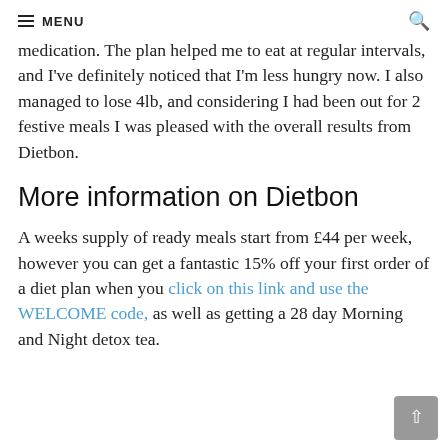MENU
medication. The plan helped me to eat at regular intervals, and I've definitely noticed that I'm less hungry now. I also managed to lose 4lb, and considering I had been out for 2 festive meals I was pleased with the overall results from Dietbon.
More information on Dietbon
A weeks supply of ready meals start from £44 per week, however you can get a fantastic 15% off your first order of a diet plan when you click on this link and use the WELCOME code, as well as getting a 28 day Morning and Night detox tea.